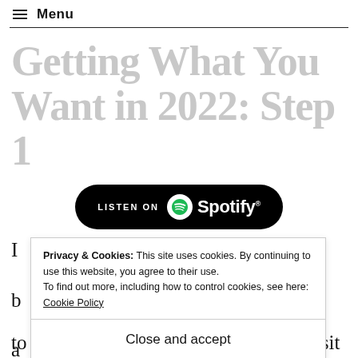≡ Menu
Getting What You Want in 2022: Step 1
[Figure (logo): Listen on Spotify button — black rounded rectangle with Spotify logo and text]
Privacy & Cookies: This site uses cookies. By continuing to use this website, you agree to their use. To find out more, including how to control cookies, see here: Cookie Policy
Close and accept
to put it gently. Its the time of year we sit